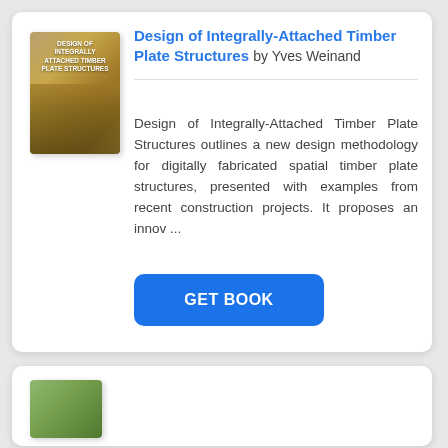[Figure (illustration): Book cover thumbnail for 'Design of Integrally-Attached Timber Plate Structures']
Design of Integrally-Attached Timber Plate Structures by Yves Weinand
Design of Integrally-Attached Timber Plate Structures outlines a new design methodology for digitally fabricated spatial timber plate structures, presented with examples from recent construction projects. It proposes an innov ...
GET BOOK
[Figure (illustration): Second book cover thumbnail (partially visible)]